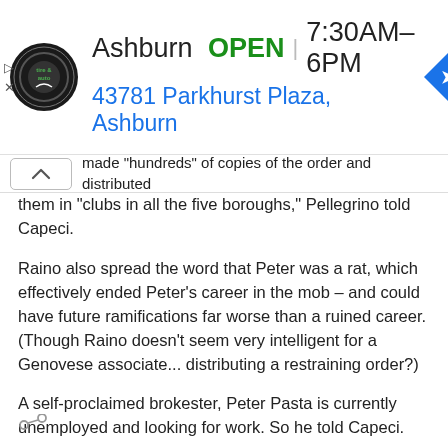[Figure (screenshot): Advertisement banner for Virginia Tire & Auto Ashburn location. Shows circular logo with 'tire & auto', business name 'Ashburn', status 'OPEN', hours '7:30AM–6PM', address '43781 Parkhurst Plaza, Ashburn', and a blue diamond navigation arrow icon.]
made "hundreds" of copies of the order and distributed them in "clubs in all the five boroughs," Pellegrino told Capeci.
Raino also spread the word that Peter was a rat, which effectively ended Peter's career in the mob – and could have future ramifications far worse than a ruined career. (Though Raino doesn't seem very intelligent for a Genovese associate... distributing a restraining order?)
A self-proclaimed brokester, Peter Pasta is currently unemployed and looking for work. So he told Capeci.